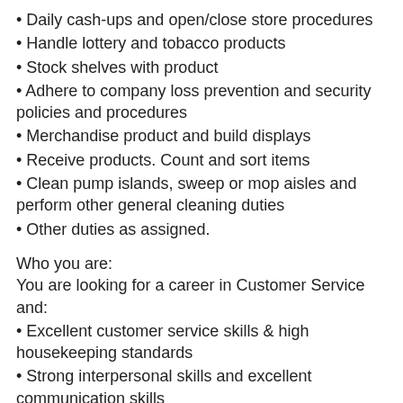• Daily cash-ups and open/close store procedures
• Handle lottery and tobacco products
• Stock shelves with product
• Adhere to company loss prevention and security policies and procedures
• Merchandise product and build displays
• Receive products. Count and sort items
• Clean pump islands, sweep or mop aisles and perform other general cleaning duties
• Other duties as assigned.
Who you are:
You are looking for a career in Customer Service and:
• Excellent customer service skills & high housekeeping standards
• Strong interpersonal skills and excellent communication skills
• Work flexible hours
• Ability to solve problems
• Must be bondable